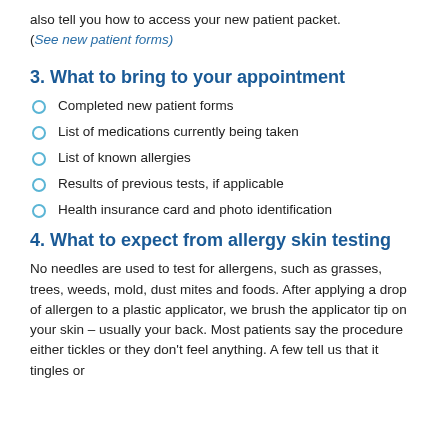also tell you how to access your new patient packet. (See new patient forms)
3. What to bring to your appointment
Completed new patient forms
List of medications currently being taken
List of known allergies
Results of previous tests, if applicable
Health insurance card and photo identification
4. What to expect from allergy skin testing
No needles are used to test for allergens, such as grasses, trees, weeds, mold, dust mites and foods. After applying a drop of allergen to a plastic applicator, we brush the applicator tip on your skin – usually your back. Most patients say the procedure either tickles or they don't feel anything. A few tell us that it tingles or